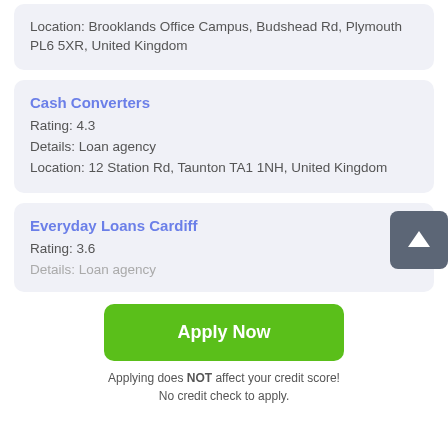Location: Brooklands Office Campus, Budshead Rd, Plymouth PL6 5XR, United Kingdom
Cash Converters
Rating: 4.3
Details: Loan agency
Location: 12 Station Rd, Taunton TA1 1NH, United Kingdom
Everyday Loans Cardiff
Rating: 3.6
Details: Loan agency
Apply Now
Applying does NOT affect your credit score!
No credit check to apply.